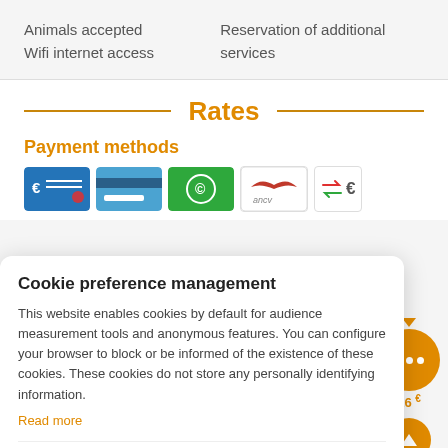Animals accepted
Wifi internet access
Reservation of additional services
Rates
Payment methods
[Figure (other): Payment method icons: credit card euro, blue card, green cash, ANCV, euro transfer]
Cookie preference management
This website enables cookies by default for audience measurement tools and anonymous features. You can configure your browser to block or be informed of the existence of these cookies. These cookies do not store any personally identifying information.
Read more
No thanks   I choose   Ok for me